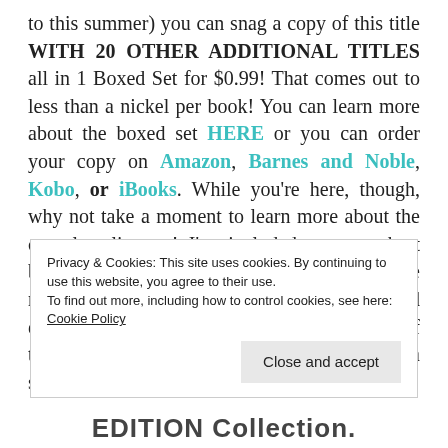to this summer) you can snag a copy of this title WITH 20 OTHER ADDITIONAL TITLES all in 1 Boxed Set for $0.99! That comes out to less than a nickel per book! You can learn more about the boxed set HERE or you can order your copy on Amazon, Barnes and Noble, Kobo, or iBooks. While you're here, though, why not take a moment to learn more about the complete line up! I've included a super short blurb of every title in the collection. Some are not yet available and being introduced exclusively through the boxed set, but ALL of the titles are professionally edited and not a single one ends on a cliffhanger!
Privacy & Cookies: This site uses cookies. By continuing to use this website, you agree to their use.
To find out more, including how to control cookies, see here: Cookie Policy
Close and accept
EDITION Collection.